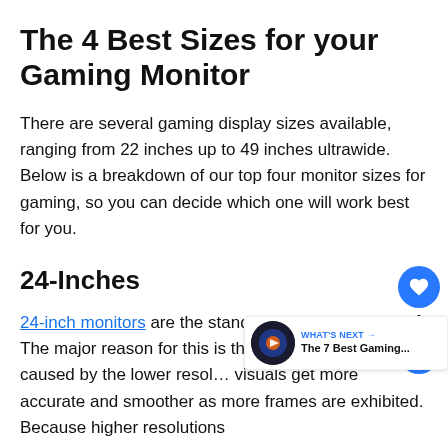The 4 Best Sizes for your Gaming Monitor
There are several gaming display sizes available, ranging from 22 inches up to 49 inches ultrawide. Below is a breakdown of our top four monitor sizes for gaming, so you can decide which one will work best for you.
24-Inches
24-inch monitors are the standard among pro gamers. The major reason for this is the faster refresh rates caused by the lower resol... visuals get more accurate and smoother as more frames are exhibited. Because higher resolutions